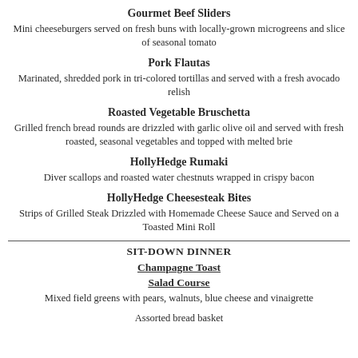Gourmet Beef Sliders
Mini cheeseburgers served on fresh buns with locally-grown microgreens and slice of seasonal tomato
Pork Flautas
Marinated, shredded pork in tri-colored tortillas and served with a fresh avocado relish
Roasted Vegetable Bruschetta
Grilled french bread rounds are drizzled with garlic olive oil and served with fresh roasted, seasonal vegetables and topped with melted brie
HollyHedge Rumaki
Diver scallops and roasted water chestnuts wrapped in crispy bacon
HollyHedge Cheesesteak Bites
Strips of Grilled Steak Drizzled with Homemade Cheese Sauce and Served on a Toasted Mini Roll
SIT-DOWN DINNER
Champagne Toast
Salad Course
Mixed field greens with pears, walnuts, blue cheese and vinaigrette
Assorted bread basket